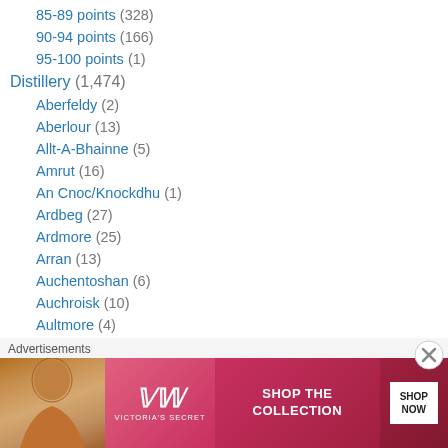85-89 points (328)
90-94 points (166)
95-100 points (1)
Distillery (1,474)
Aberfeldy (2)
Aberlour (13)
Allt-A-Bhainne (5)
Amrut (16)
An Cnoc/Knockdhu (1)
Ardbeg (27)
Ardmore (25)
Arran (13)
Auchentoshan (6)
Auchroisk (10)
Aultmore (4)
Balblair (15)
Balcones (5)
[Figure (screenshot): Victoria's Secret advertisement banner with model, logo, 'SHOP THE COLLECTION' text and 'SHOP NOW' button]